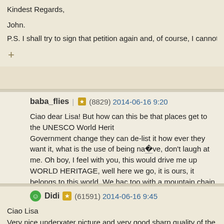Kindest Regards,

John.

P.S. I shall try to sign that petition again and, of course, I cannot resist adding pe
+ (plus button)
baba_flies (8829) 2014-06-16 9:20
Ciao dear Lisa! But how can this be that places get to the UNESCO World Herit... Government change they can de-list it how ever they want it, what is the use of being na�ve, don't laugh at me. Oh boy, I feel with you, this would drive me up WORLD HERITAGE, well here we go, it is ours, it belongs to this world. We hac too with a mountain chain I look at from my cottage window. They did not want i them with new building activities. All business. Scary. Hugs from Switzerland, Ba
+ (plus button)
Didi (61591) 2014-06-16 9:45
Ciao Lisa
Very nice underxater picture and very good sharp quality of the large version
Well done
Kind regards